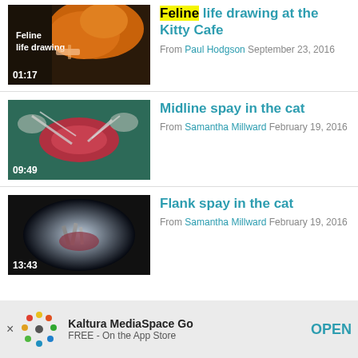[Figure (screenshot): Video thumbnail showing a ginger cat being drawn at Kitty Cafe with text 'Feline life drawing' and duration 01:17]
Feline life drawing at the Kitty Cafe
From Paul Hodgson September 23, 2016
[Figure (screenshot): Video thumbnail showing a surgical midline spay procedure on a cat with duration 09:49]
Midline spay in the cat
From Samantha Millward February 19, 2016
[Figure (screenshot): Video thumbnail showing a flank spay surgical procedure on a cat with duration 13:43]
Flank spay in the cat
From Samantha Millward February 19, 2016
Kaltura MediaSpace Go FREE - On the App Store OPEN